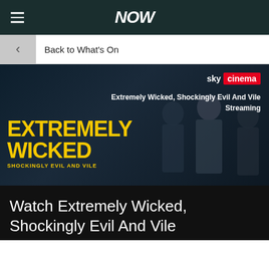NOW
Back to What's On
[Figure (screenshot): Movie banner for 'Extremely Wicked, Shockingly Evil And Vile' on Sky Cinema. Dark background with silhouetted figures, large yellow bold text reading EXTREMELY WICKED SHOCKINGLY EVIL AND VILE, Sky Cinema badge top right, and streaming label.]
Watch Extremely Wicked, Shockingly Evil And Vile